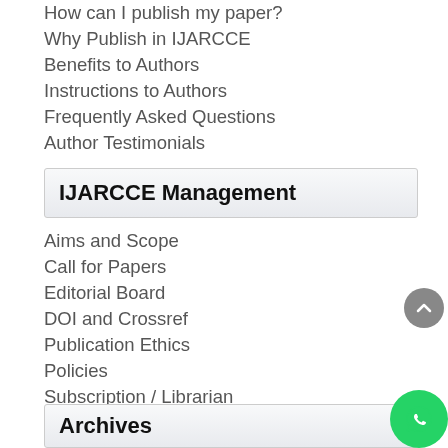How can I publish my paper?
Why Publish in IJARCCE
Benefits to Authors
Instructions to Authors
Frequently Asked Questions
Author Testimonials
IJARCCE Management
Aims and Scope
Call for Papers
Editorial Board
DOI and Crossref
Publication Ethics
Policies
Subscription / Librarian
Conference Special Issue Info
Archives